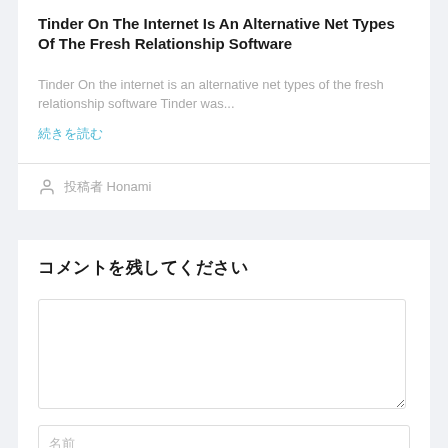Tinder On The Internet Is An Alternative Net Types Of The Fresh Relationship Software
Tinder On the internet is an alternative net types of the fresh relationship software Tinder was...
続きを読む
投稿者 Honami
コメントを残してください
コメント
名前